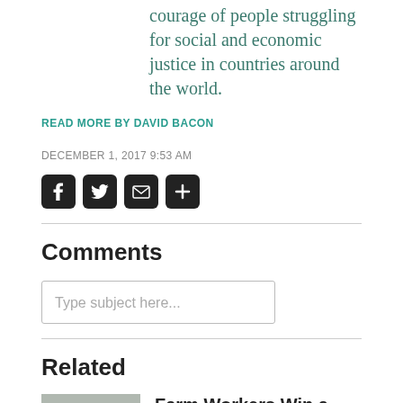courage of people struggling for social and economic justice in countries around the world.
READ MORE BY DAVID BACON
DECEMBER 1, 2017 9:53 AM
[Figure (infographic): Social media share icons: Facebook, Twitter, Email, and a plus button, all in black rounded square boxes]
Comments
Type subject here...
Related
Farm Workers Win a Victory Against Exploitation in the